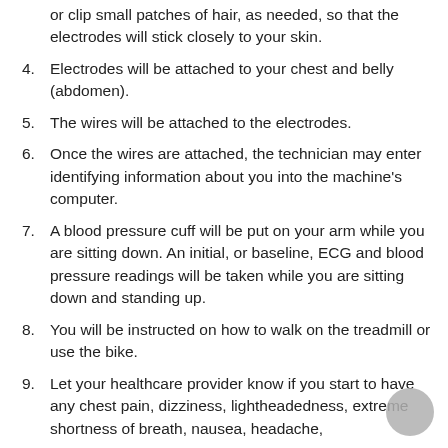(partial) or clip small patches of hair, as needed, so that the electrodes will stick closely to your skin.
4. Electrodes will be attached to your chest and belly (abdomen).
5. The wires will be attached to the electrodes.
6. Once the wires are attached, the technician may enter identifying information about you into the machine's computer.
7. A blood pressure cuff will be put on your arm while you are sitting down. An initial, or baseline, ECG and blood pressure readings will be taken while you are sitting down and standing up.
8. You will be instructed on how to walk on the treadmill or use the bike.
9. Let your healthcare provider know if you start to have any chest pain, dizziness, lightheadedness, extreme shortness of breath, nausea, headache,